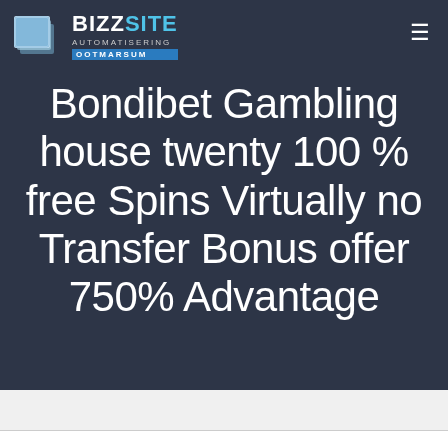[Figure (logo): BizzSite Automatisering Ootmarsum logo with blue stacked paper icon and text]
Bondibet Gambling house twenty 100 % free Spins Virtually no Transfer Bonus offer 750% Advantage